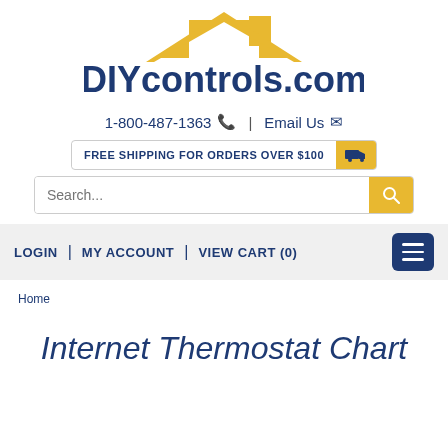[Figure (logo): DIYcontrols.com logo with gold house/roof graphic above the text]
1-800-487-1363  |  Email Us
FREE SHIPPING FOR ORDERS OVER $100
Search...
LOGIN | MY ACCOUNT | VIEW CART (0)
Home
Internet Thermostat Chart